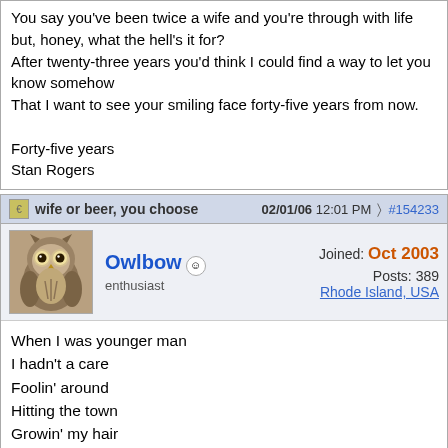You say you've been twice a wife and you're through with life but, honey, what the hell's it for?
After twenty-three years you'd think I could find a way to let you know somehow
That I want to see your smiling face forty-five years from now.

Forty-five years
Stan Rogers
wife or beer, you choose  02/01/06 12:01 PM  #154233
Owlbow  enthusiast  Joined: Oct 2003  Posts: 389  Rhode Island, USA
When I was younger man
I hadn't a care
Foolin' around
Hitting the town
Growin' my hair
You came along and stole my heart
When you entered my life
Ooh, babe, you got what it takes
So I made you my wife

Since then I never looked back